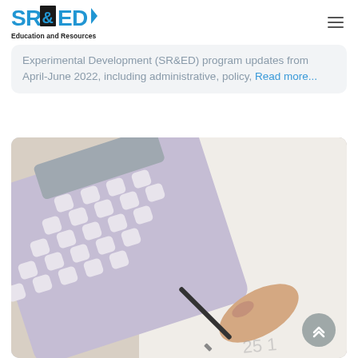SR&ED Education and Resources
Experimental Development (SR&ED) program updates from April-June 2022, including administrative, policy, Read more...
[Figure (photo): A person's hand holding a black pen writing on paper, next to a purple/lavender calculator on a white desk surface.]